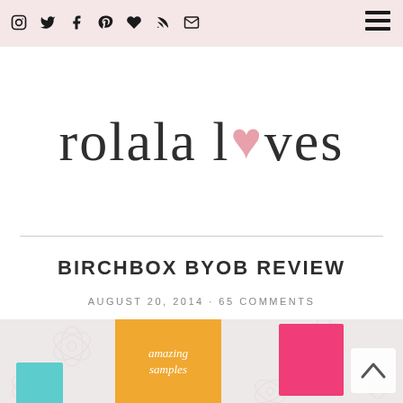Navigation bar with social icons (Instagram, Twitter, Facebook, Pinterest, Heart, RSS, Email) and hamburger menu
[Figure (logo): Rolala Loves blog logo in large serif text with a pink heart replacing the 'o' in 'loves']
BIRCHBOX BYOB REVIEW
AUGUST 20, 2014 · 65 COMMENTS
[Figure (photo): Photo of Birchbox subscription box products including a yellow box labeled 'amazing samples', teal box, and pink items on a floral background]